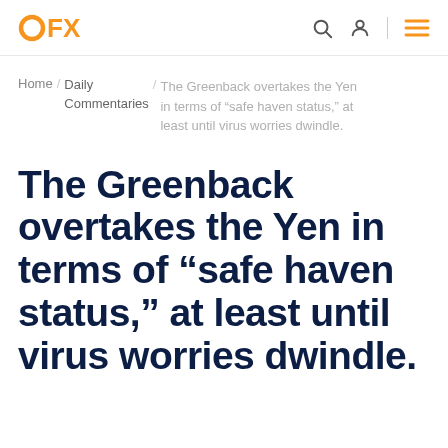OFX
Home / Daily Commentaries / The Greenback overtakes the Yen in terms of “safe haven status,” at least until virus worries dwindle.
The Greenback overtakes the Yen in terms of “safe haven status,” at least until virus worries dwindle.